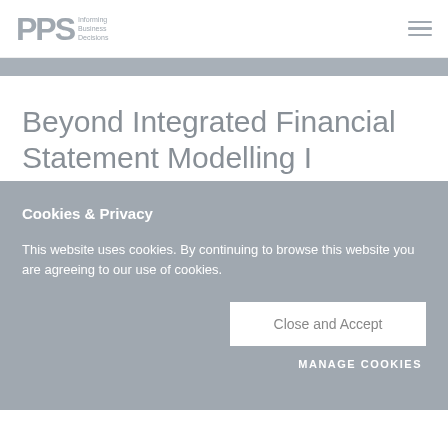PPS Informing Business Decisions
Beyond Integrated Financial Statement Modelling I
Cookies & Privacy
This website uses cookies. By continuing to browse this website you are agreeing to our use of cookies.
Close and Accept
MANAGE COOKIES